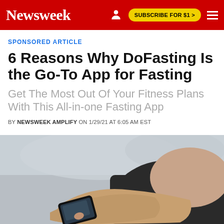Newsweek — SUBSCRIBE FOR $1 >
SPONSORED ARTICLE
6 Reasons Why DoFasting Is the Go-To App for Fasting
Get The Most Out Of Your Fitness Plans With This All-in-one Fasting App
BY NEWSWEEK AMPLIFY ON 1/29/21 AT 6:05 AM EST
[Figure (photo): A woman in athletic wear looking down at a smartphone, with a blurred outdoor background. The image shows her hands holding and tapping on the phone screen.]